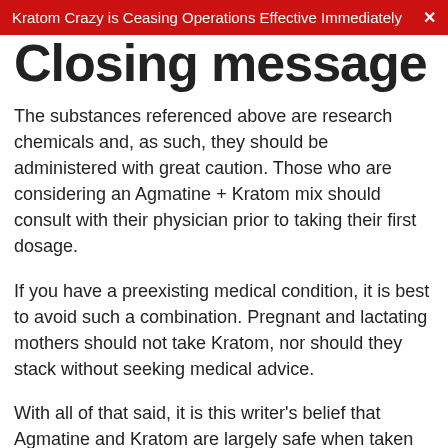Kratom Crazy is Ceasing Operations Effective Immediately ✕
Closing message (partial, cut off)
The substances referenced above are research chemicals and, as such, they should be administered with great caution. Those who are considering an Agmatine + Kratom mix should consult with their physician prior to taking their first dosage.
If you have a preexisting medical condition, it is best to avoid such a combination. Pregnant and lactating mothers should not take Kratom, nor should they stack without seeking medical advice.
With all of that said, it is this writer's belief that Agmatine and Kratom are largely safe when taken responsibly and with proper supervision. Again, always consider your own personal sensitivities and needs before stacking with kratom potentiators. Be safe, be smart and be well.